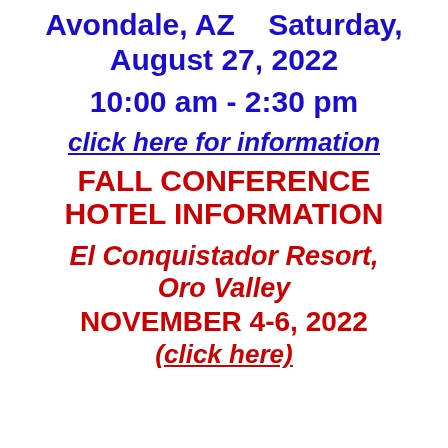Avondale, AZ    Saturday, August 27, 2022
10:00 am - 2:30 pm
click here for information
FALL CONFERENCE HOTEL INFORMATION
El Conquistador Resort, Oro Valley
NOVEMBER 4-6, 2022
(click here)